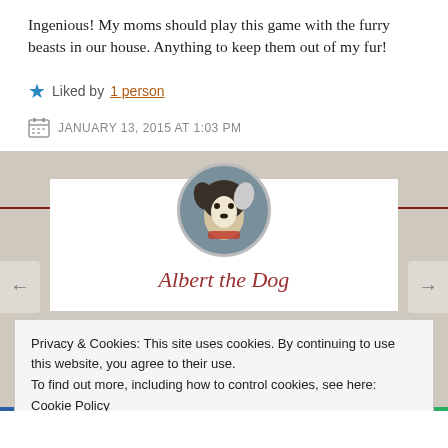Ingenious! My moms should play this game with the furry beasts in our house. Anything to keep them out of my fur!
★ Liked by 1 person
JANUARY 13, 2015 AT 1:03 PM
[Figure (photo): Circular profile photo of a dog (husky/shiba mix) wearing a red harness, outdoors]
Albert the Dog
Privacy & Cookies: This site uses cookies. By continuing to use this website, you agree to their use.
To find out more, including how to control cookies, see here: Cookie Policy
Close and accept